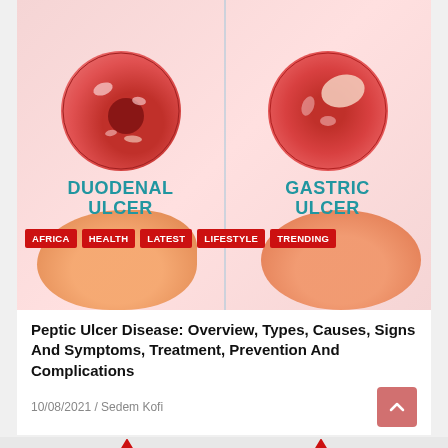[Figure (illustration): Medical illustration showing two types of ulcers side by side: Duodenal Ulcer (left, circular cross-section view showing ulcer inside) and Gastric Ulcer (right, circular view showing ulcer on stomach lining), with stomach anatomy drawings below each, separated by a vertical divider line. Tags overlaid: AFRICA, HEALTH, LATEST, LIFESTYLE, TRENDING.]
Peptic Ulcer Disease: Overview, Types, Causes, Signs And Symptoms, Treatment, Prevention And Complications
10/08/2021 / Sedem Kofi
[Figure (illustration): Bottom section showing two red warning/hazard triangle icons (partially visible) on a grey background.]